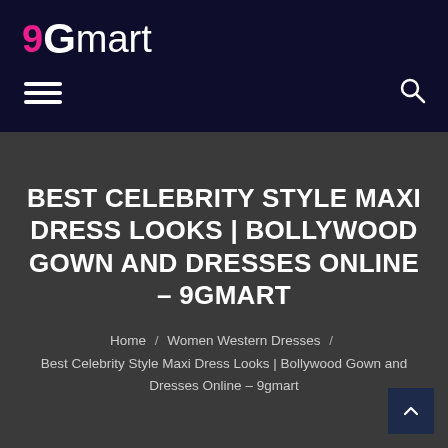9Gmart
BEST CELEBRITY STYLE MAXI DRESS LOOKS | BOLLYWOOD GOWN AND DRESSES ONLINE – 9GMART
Home / Women Western Dresses / Best Celebrity Style Maxi Dress Looks | Bollywood Gown and Dresses Online – 9gmart